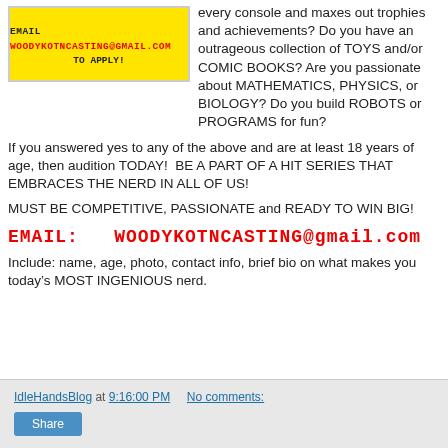[Figure (other): Yellow banner advertisement with black bold text: EMAIL WOODYKOTNCASTING@gmail.com TO APPLY!]
every console and maxes out trophies and achievements? Do you have an outrageous collection of TOYS and/or COMIC BOOKS? Are you passionate about MATHEMATICS, PHYSICS, or BIOLOGY? Do you build ROBOTS or PROGRAMS for fun?
If you answered yes to any of the above and are at least 18 years of age, then audition TODAY!  BE A PART OF A HIT SERIES THAT EMBRACES THE NERD IN ALL OF US!
MUST BE COMPETITIVE, PASSIONATE and READY TO WIN BIG!
EMAIL:   WOODYKOTNCASTING@gmail.com
Include: name, age, photo, contact info, brief bio on what makes you today’s MOST INGENIOUS nerd.
IdleHandsBlog at 9:16:00 PM   No comments:  Share